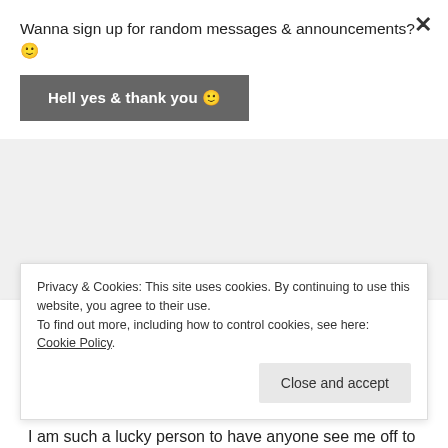Wanna sign up for random messages & announcements? 🙂
Hell yes & thank you 🙂
FAREWELL GIFTS SPARK INSPIRATION
09/06/2013   4 Comments
I am such a lucky person to have anyone see me off to Italy today. I was in such a rush to make it to my gate that I did not have a long chance to look at my gifts. My former
Privacy & Cookies: This site uses cookies. By continuing to use this website, you agree to their use.
To find out more, including how to control cookies, see here: Cookie Policy
Close and accept